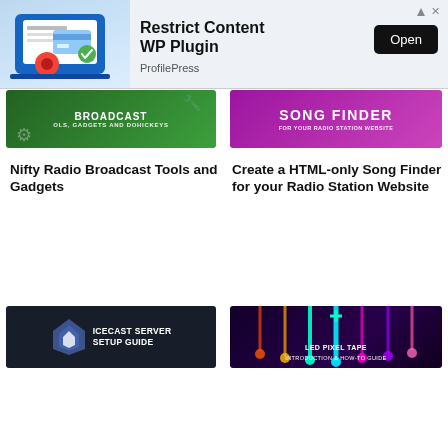[Figure (screenshot): Advertisement banner for 'Restrict Content WP Plugin' by ProfilePress with an Open button, showing a shopping cart and plugin interface illustration]
[Figure (screenshot): Green thumbnail for 'Broadcast Tools, Gadgets and Dohickeys']
[Figure (screenshot): Pink/magenta thumbnail for 'Song Finder for your Radio Station Website']
Nifty Radio Broadcast Tools and Gadgets
Create a HTML-only Song Finder for your Radio Station Website
[Figure (screenshot): Dark thumbnail for 'Icecast Server Setup Guide' with server rack background]
[Figure (screenshot): Dark purple thumbnail for 'LED Pixel Tape Introduction & How-To Guide' with colorful stage lights]